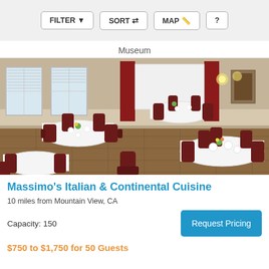FILTER  SORT  MAP  ?
Museum
[Figure (photo): Interior of Massimo's Italian & Continental Cuisine restaurant banquet room showing round tables with white tablecloths, red chairs, red curtains, and a projection screen.]
Massimo's Italian & Continental Cuisine
10 miles from Mountain View, CA
Capacity: 150
Request Pricing
$750 to $1,750 for 50 Guests